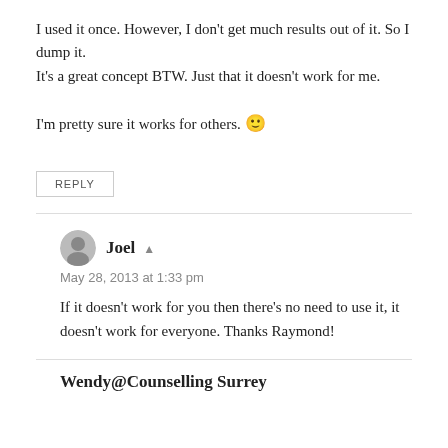I used it once. However, I don't get much results out of it. So I dump it.
It's a great concept BTW. Just that it doesn't work for me.

I'm pretty sure it works for others. 🙂
REPLY
Joel ▲
May 28, 2013 at 1:33 pm
If it doesn't work for you then there's no need to use it, it doesn't work for everyone. Thanks Raymond!
Wendy@Counselling Surrey